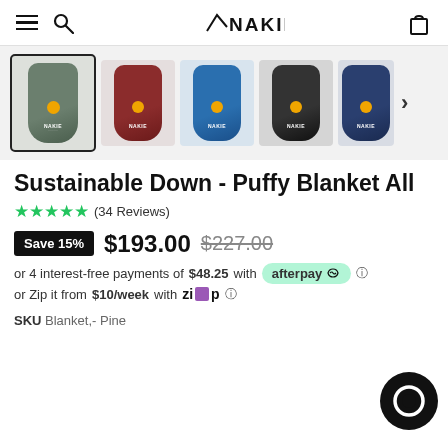NAKIE — navigation header with hamburger menu, search, logo, cart
[Figure (photo): Product thumbnail gallery showing 5 rolled Nakie blankets in different colors: pine/green (selected), dark red, blue, black, and navy blue, with a right arrow for more.]
Sustainable Down - Puffy Blanket All
★★★★★ (34 Reviews)
Save 15%  $193.00  $227.00
or 4 interest-free payments of $48.25 with afterpay ⓘ
or Zip it from $10/week with Zip ⓘ
SKU Blanket,- Pine